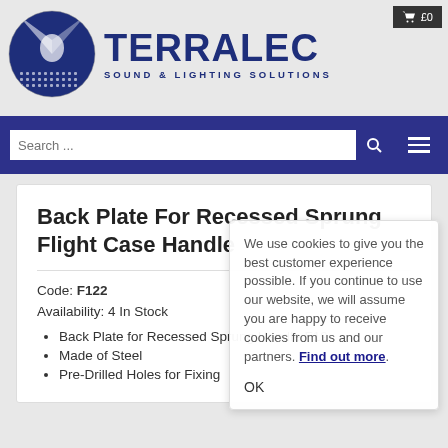[Figure (logo): Terralec Sound & Lighting Solutions logo with circular blue sphere icon and brand name text]
£0 (cart)
Search ...
Back Plate For Recessed Sprung Flight Case Handle
Code: F122
Availability: 4 In Stock
Back Plate for Recessed Sprung Handle F19
Made of Steel
Pre-Drilled Holes for Fixing
We use cookies to give you the best customer experience possible. If you continue to use our website, we will assume you are happy to receive cookies from us and our partners. Find out more.
OK